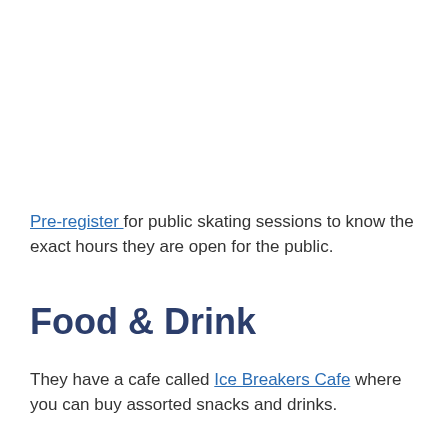Pre-register for public skating sessions to know the exact hours they are open for the public.
Food & Drink
They have a cafe called Ice Breakers Cafe where you can buy assorted snacks and drinks.
We enjoyed a quick hot chocolate and then